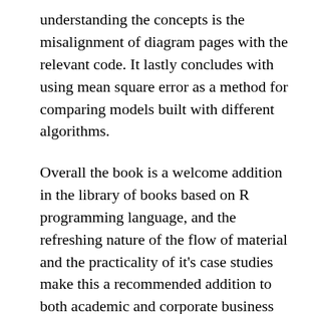understanding the concepts is the misalignment of diagram pages with the relevant code. It lastly concludes with using mean square error as a method for comparing models built with different algorithms.
Overall the book is a welcome addition in the library of books based on R programming language, and the refreshing nature of the flow of material and the practicality of it's case studies make this a recommended addition to both academic and corporate business analysts trying to derive insights by hacking lots of heterogeneous data.